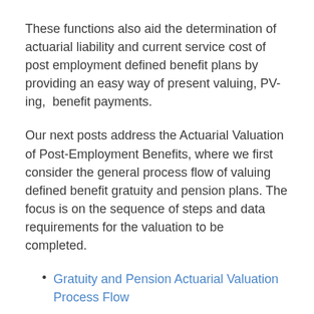These functions also aid the determination of actuarial liability and current service cost of post employment defined benefit plans by providing an easy way of present valuing, PV-ing,  benefit payments.
Our next posts address the Actuarial Valuation of Post-Employment Benefits, where we first consider the general process flow of valuing defined benefit gratuity and pension plans. The focus is on the sequence of steps and data requirements for the valuation to be completed.
Gratuity and Pension Actuarial Valuation Process Flow